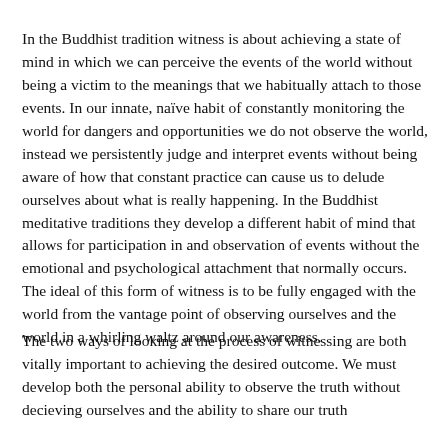In the Buddhist tradition witness is about achieving a state of mind in which we can perceive the events of the world without being a victim to the meanings that we habitually attach to those events. In our innate, naïve habit of constantly monitoring the world for dangers and opportunities we do not observe the world, instead we persistently judge and interpret events without being aware of how that constant practice can cause us to delude ourselves about what is really happening. In the Buddhist meditative traditions they develop a different habit of mind that allows for participation in and observation of events without the emotional and psychological attachment that normally occurs. The ideal of this form of witness is to be fully engaged with the world from the vantage point of observing ourselves and the world in a whirling waltz around our awareness.
The two ways of looking at the process of witnessing are both vitally important to achieving the desired outcome. We must develop both the personal ability to observe the truth without decieving ourselves and the ability to share our truth